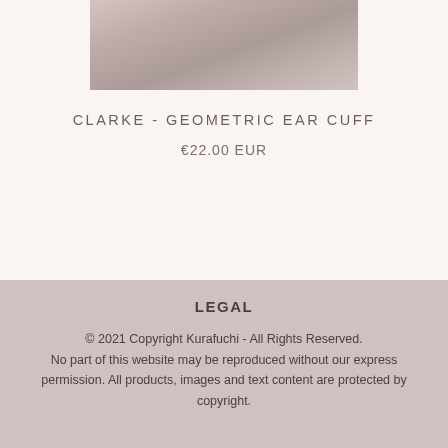[Figure (photo): Cropped product photo of an ear cuff jewelry item showing a close-up texture of the metal piece against a muted blush background]
CLARKE - GEOMETRIC EAR CUFF
€22.00 EUR
s
LEGAL
© 2021 Copyright Kurafuchi - All Rights Reserved.
No part of this website may be reproduced without our express permission. All products, images and text content are protected by copyright.